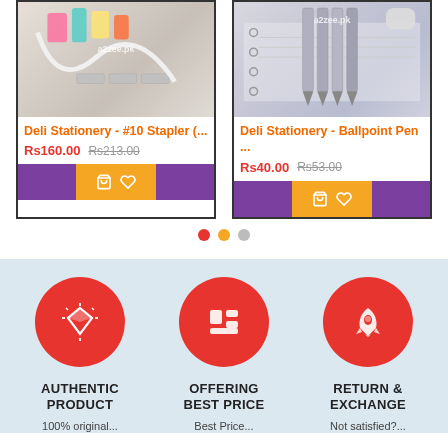[Figure (photo): Product photo of Deli Stationery stapler with office supplies, watermark a2zee.pk]
Deli Stationery - #10 Stapler (...
Rs160.00  Rs213.00
[Figure (photo): Product photo of Deli Stationery ballpoint pens on notebook, watermark a2zee.pk]
Deli Stationery - Ballpoint Pen ...
Rs40.00  Rs53.00
[Figure (infographic): Three red circular icons with white symbols: diamond (authentic product), grid layout (offering best price), rocket (return & exchange)]
AUTHENTIC PRODUCT
100% original...
OFFERING BEST PRICE
Best Price...
RETURN & EXCHANGE
Not satisfied?...